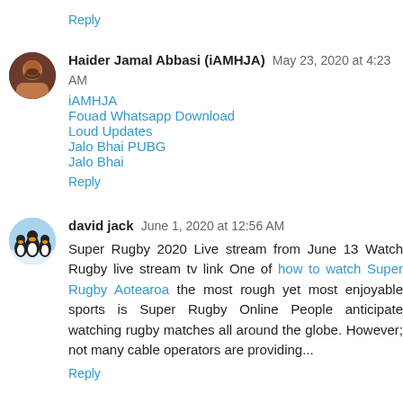Reply
Haider Jamal Abbasi (iAMHJA) May 23, 2020 at 4:23 AM
iAMHJA
Fouad Whatsapp Download
Loud Updates
Jalo Bhai PUBG
Jalo Bhai
Reply
david jack June 1, 2020 at 12:56 AM
Super Rugby 2020 Live stream from June 13 Watch Rugby live stream tv link One of how to watch Super Rugby Aotearoa the most rough yet most enjoyable sports is Super Rugby Online People anticipate watching rugby matches all around the globe. However; not many cable operators are providing...
Reply